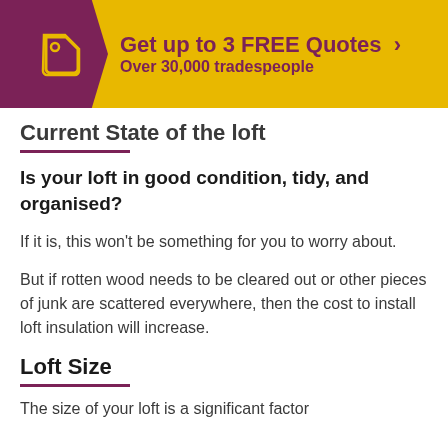[Figure (infographic): Yellow banner with purple arrow-shaped left panel containing a tag icon, and text 'Get up to 3 FREE Quotes >' with 'Over 30,000 tradespeople' below.]
Current State of the loft
Is your loft in good condition, tidy, and organised?
If it is, this won't be something for you to worry about.
But if rotten wood needs to be cleared out or other pieces of junk are scattered everywhere, then the cost to install loft insulation will increase.
Loft Size
The size of your loft is a significant factor